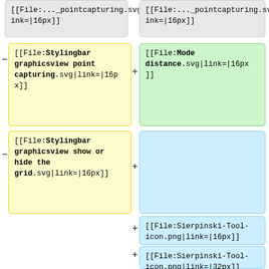[[File:..._pointcapturing.svg|link=|16px]]
[[File:..._pointcapturing.svg|link=|16px]]
[[File:Stylingbar graphicsview point capturing.svg|link=|16px]]
[[File:Mode distance.svg|link=|16px]]
[[File:Stylingbar graphicsview show or hide the grid.svg|link=|16px]]
[[File:Sierpinski-Tool-icon.png|link=|16px]]
[[File:Sierpinski-Tool-icon.png|link=|32px]]
[[File:Sierpinski-Tool-icon.png|link=|]]
[[File:GGB-Tool-Orthocenter-Screenshot.png|link=|32